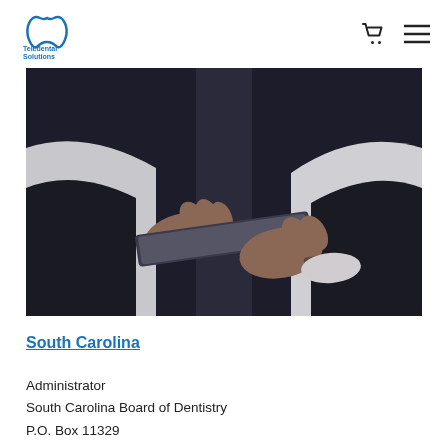Teledental Solutions
[Figure (photo): Close-up photo of a person in a white shirt and dark tie using a tablet device with both hands against a dark background]
South Carolina
Administrator
South Carolina Board of Dentistry
P.O. Box 11329
Columbia, SC 29211-1329  Phone: (803) 896-4599